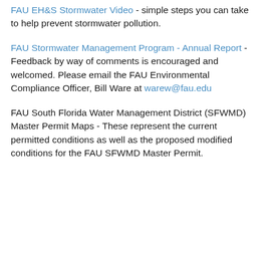FAU EH&S Stormwater Video - simple steps you can take to help prevent stormwater pollution.
FAU Stormwater Management Program - Annual Report - Feedback by way of comments is encouraged and welcomed. Please email the FAU Environmental Compliance Officer, Bill Ware at warew@fau.edu
FAU South Florida Water Management District (SFWMD) Master Permit Maps - These represent the current permitted conditions as well as the proposed modified conditions for the FAU SFWMD Master Permit.